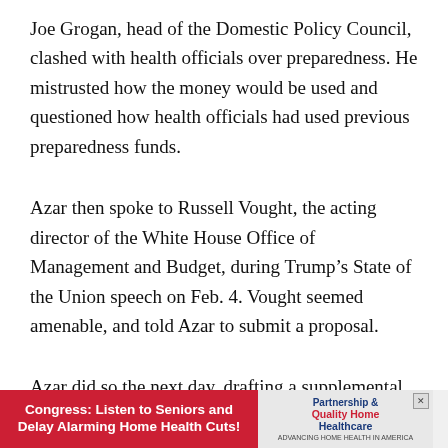Joe Grogan, head of the Domestic Policy Council, clashed with health officials over preparedness. He mistrusted how the money would be used and questioned how health officials had used previous preparedness funds.
Azar then spoke to Russell Vought, the acting director of the White House Office of Management and Budget, during Trump's State of the Union speech on Feb. 4. Vought seemed amenable, and told Azar to submit a proposal.
Azar did so the next day, drafting a supplemental request for more than $4 billion, a sum that OMB officials and others at the White House greeted as an outrage. Azar arrived at the White House that day for a tense meeting in the Situation Room that erupted in a shouting match,
[Figure (infographic): Advertisement banner: red section with text 'Congress: Listen to Seniors and Delay Alarming Home Health Cuts!' and right section with 'Partnership for Quality Home Healthcare' logo and tagline.]